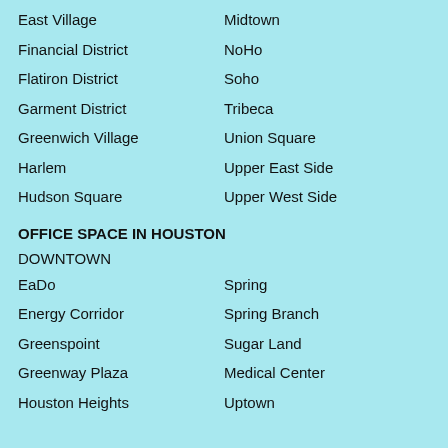East Village
Midtown
Financial District
NoHo
Flatiron District
Soho
Garment District
Tribeca
Greenwich Village
Union Square
Harlem
Upper East Side
Hudson Square
Upper West Side
OFFICE SPACE IN HOUSTON
DOWNTOWN
EaDo
Spring
Energy Corridor
Spring Branch
Greenspoint
Sugar Land
Greenway Plaza
Medical Center
Houston Heights
Uptown